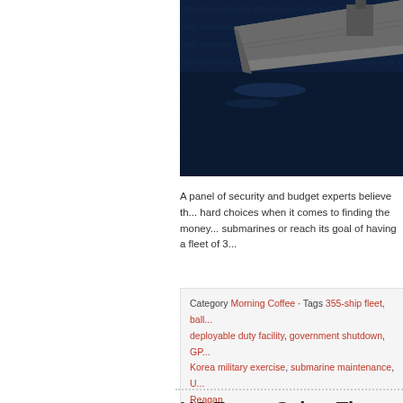[Figure (photo): Aerial view of a US Navy aircraft carrier at sea, seen from above-rear angle, surrounded by dark blue ocean water.]
A panel of security and budget experts believe th... hard choices when it comes to finding the money... submarines or reach its goal of having a fleet of 3...
Category Morning Coffee · Tags 355-ship fleet, ball... deployable duty facility, government shutdown, GP... Korea military exercise, submarine maintenance, U... Reagan
US Faces Cyber Th... Many Fronts